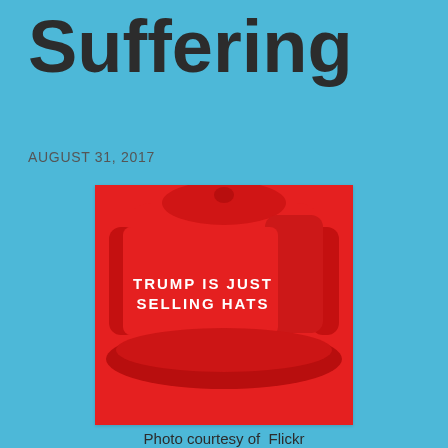Suffering
AUGUST 31, 2017
[Figure (photo): A red trucker-style cap with white embroidered text reading 'TRUMP IS JUST SELLING HATS']
Photo courtesy of  Flickr
Hurricane Harvey is the fist natural disaster to occur during the Trump administration and the